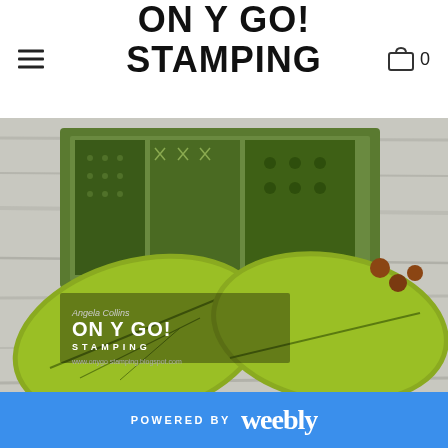ON Y GO! STAMPING
[Figure (photo): Autumn leaves and green patterned card/craft project on a grey wooden surface, with acorns and straw. Overlaid with 'On Y Go! Stamping' watermark logo.]
[Figure (photo): Christmas cards with red and green patterns, red ribbon, on a grey wooden surface.]
POWERED BY weebly